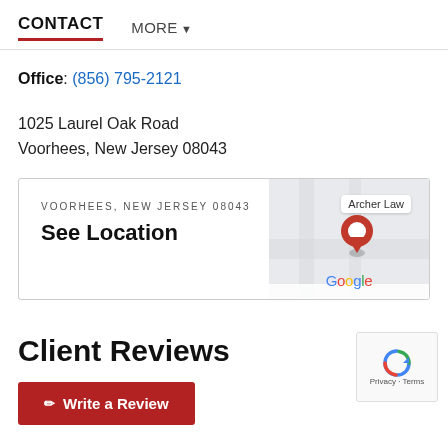CONTACT   MORE ▼
Office: (856) 795-2121
1025 Laurel Oak Road
Voorhees, New Jersey 08043
[Figure (map): Google Maps thumbnail showing location for Archer Law in Voorhees, New Jersey 08043 with a red location pin marker and Google logo. Card reads 'VOORHEES, NEW JERSEY 08043' and 'See Location'.]
Client Reviews
Write a Review